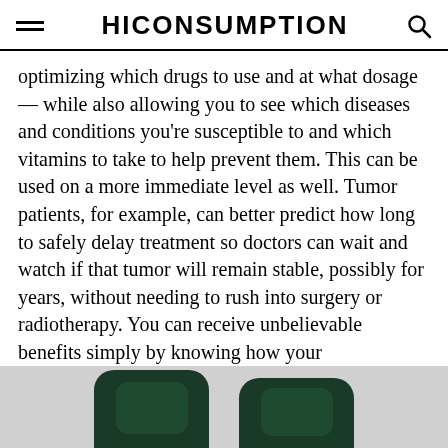HICONSUMPTION
optimizing which drugs to use and at what dosage — while also allowing you to see which diseases and conditions you're susceptible to and which vitamins to take to help prevent them. This can be used on a more immediate level as well. Tumor patients, for example, can better predict how long to safely delay treatment so doctors can wait and watch if that tumor will remain stable, possibly for years, without needing to rush into surgery or radiotherapy. You can receive unbelievable benefits simply by knowing how your individualized system adapts or responds to medicine and habits.
[Figure (photo): Partial view of two dark green wearable devices or smartwatches at the bottom of the page]